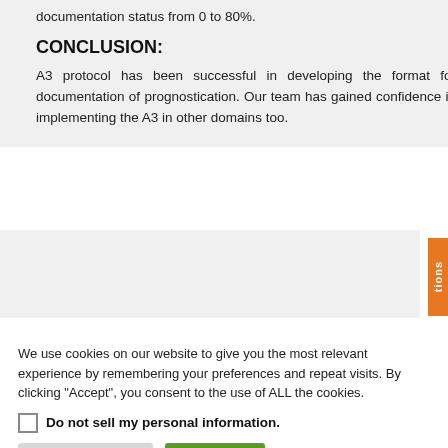documentation status from 0 to 80%.
CONCLUSION:
A3 protocol has been successful in developing the format for documentation of prognostication. Our team has gained confidence in implementing the A3 in other domains too.
We use cookies on our website to give you the most relevant experience by remembering your preferences and repeat visits. By clicking “Accept”, you consent to the use of ALL the cookies.
Do not sell my personal information
Cookie Settings
Accept